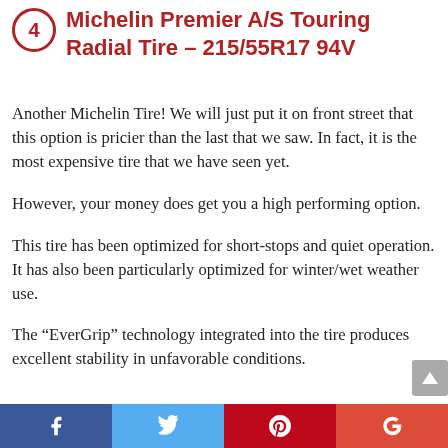Michelin Premier A/S Touring Radial Tire – 215/55R17 94V
Another Michelin Tire! We will just put it on front street that this option is pricier than the last that we saw. In fact, it is the most expensive tire that we have seen yet.
However, your money does get you a high performing option.
This tire has been optimized for short-stops and quiet operation. It has also been particularly optimized for winter/wet weather use.
The “EverGrip” technology integrated into the tire produces excellent stability in unfavorable conditions.
Facebook Twitter Pinterest Google+